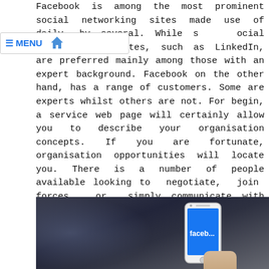≡ MENU 🏠
Facebook is among the most prominent social networking sites made use of daily, by several. While social networking websites, such as LinkedIn, are preferred mainly among those with an expert background. Facebook on the other hand, has a range of customers. Some are experts whilst others are not. For begin, a service web page will certainly allow you to describe your organisation concepts. If you are fortunate, organisation opportunities will locate you. There is a number of people available looking to negotiate, join forces, or simply communicate with other companies. What you obtain from your Facebook company page is entirely up to you. But remember to set service goals. Take the time to make your page show up inviting, yet expert. It will deserve it.
[Figure (photo): Dark background photo showing a hand holding a white smartphone displaying the Facebook app interface (showing 'faceb...' text in blue). A blurred figure is in the background.]